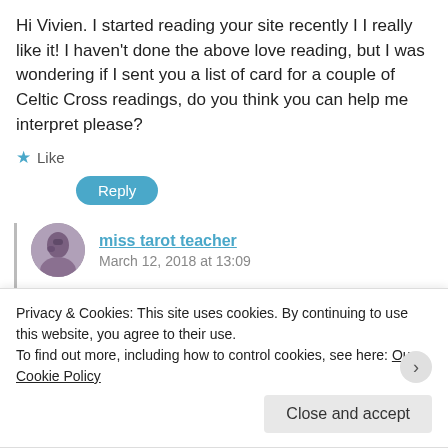Hi Vivien. I started reading your site recently I I really like it! I haven't done the above love reading, but I was wondering if I sent you a list of card for a couple of Celtic Cross readings, do you think you can help me interpret please?
★ Like
Reply
miss tarot teacher
March 12, 2018 at 13:09
Hi Michelle,
Privacy & Cookies: This site uses cookies. By continuing to use this website, you agree to their use.
To find out more, including how to control cookies, see here: Our Cookie Policy
Close and accept